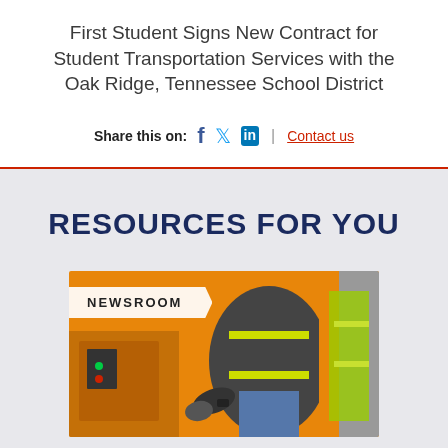First Student Signs New Contract for Student Transportation Services with the Oak Ridge, Tennessee School District
Share this on: [Facebook] [Twitter] [LinkedIn] | Contact us
RESOURCES FOR YOU
[Figure (photo): Photo of a school bus with a worker in a yellow safety vest, with a 'NEWSROOM' label overlay in the top-left corner.]